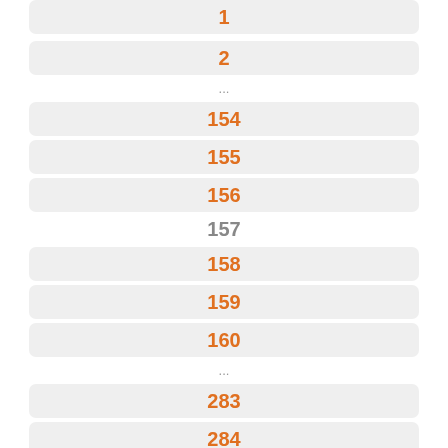1
2
...
154
155
156
157
158
159
160
...
283
284